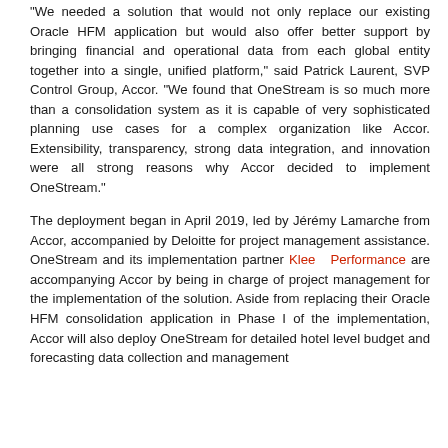"We needed a solution that would not only replace our existing Oracle HFM application but would also offer better support by bringing financial and operational data from each global entity together into a single, unified platform," said Patrick Laurent, SVP Control Group, Accor. "We found that OneStream is so much more than a consolidation system as it is capable of very sophisticated planning use cases for a complex organization like Accor. Extensibility, transparency, strong data integration, and innovation were all strong reasons why Accor decided to implement OneStream."
The deployment began in April 2019, led by Jérémy Lamarche from Accor, accompanied by Deloitte for project management assistance. OneStream and its implementation partner Klee Performance are accompanying Accor by being in charge of project management for the implementation of the solution. Aside from replacing their Oracle HFM consolidation application in Phase I of the implementation, Accor will also deploy OneStream for detailed hotel level budget and forecasting data collection and management